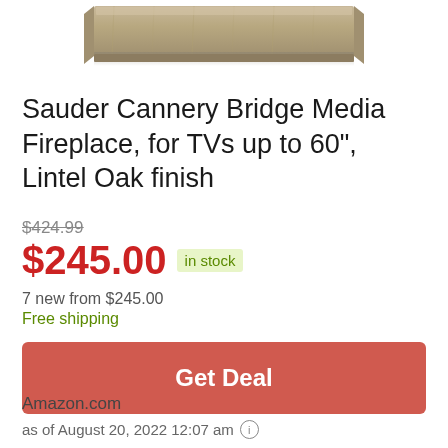[Figure (photo): Partial top view of a Sauder Cannery Bridge Media Fireplace in Lintel Oak finish, showing the top wooden surface with light wood grain texture.]
Sauder Cannery Bridge Media Fireplace, for TVs up to 60", Lintel Oak finish
$424.99
$245.00  in stock
7 new from $245.00
Free shipping
Get Deal
Amazon.com
as of August 20, 2022 12:07 am ℹ